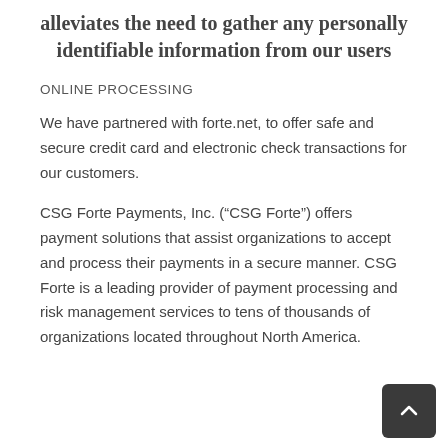alleviates the need to gather any personally identifiable information from our users
ONLINE PROCESSING
We have partnered with forte.net, to offer safe and secure credit card and electronic check transactions for our customers.
CSG Forte Payments, Inc. (“CSG Forte”) offers payment solutions that assist organizations to accept and process their payments in a secure manner. CSG Forte is a leading provider of payment processing and risk management services to tens of thousands of organizations located throughout North America.